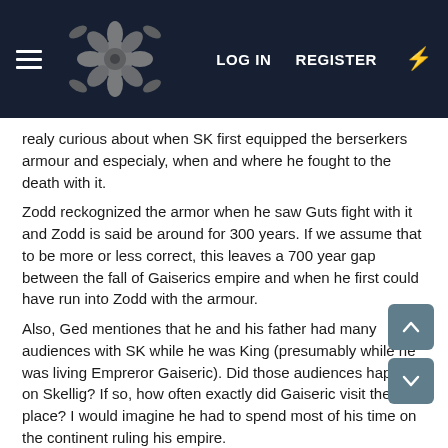LOG IN  REGISTER
realy curious about when SK first equipped the berserkers armour and especialy, when and where he fought to the death with it.
Zodd reckognized the armor when he saw Guts fight with it and Zodd is said be around for 300 years. If we assume that to be more or less correct, this leaves a 700 year gap between the fall of Gaiserics empire and when he first could have run into Zodd with the armour.
Also, Ged mentiones that he and his father had many audiences with SK while he was King (presumably while he was living Empreror Gaiseric). Did those audiences happen on Skellig? If so, how often exactly did Gaiseric visit the place? I would imagine he had to spend most of his time on the continent ruling his empire.
So some loose guesses, that I cannot quite put into a coherent whole yet:
- Gaiseric visited Skellig at least once while he was still living